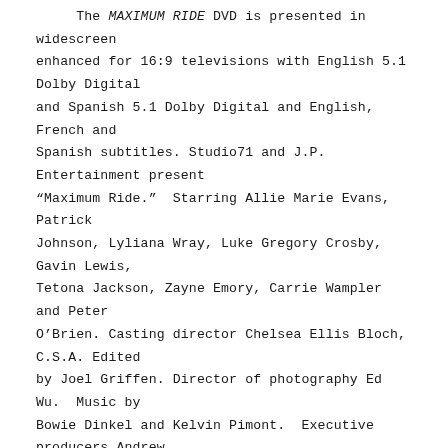The MAXIMUM RIDE DVD is presented in widescreen enhanced for 16:9 televisions with English 5.1 Dolby Digital and Spanish 5.1 Dolby Digital and English, French and Spanish subtitles. Studio71 and J.P. Entertainment present "Maximum Ride." Starring Allie Marie Evans, Patrick Johnson, Lyliana Wray, Luke Gregory Crosby, Gavin Lewis, Tetona Jackson, Zayne Emory, Carrie Wampler and Peter O'Brien. Casting director Chelsea Ellis Bloch, C.S.A. Edited by Joel Griffen. Director of photography Ed Wu. Music by Bowie Dinkel and Kelvin Pimont. Executive producers Andrew Reyes, Carrie Morrow, Leopoldo Gout, Bill Robinson, Jenna Marbles and James Patterson. Produced by Gary Binkow and Amee Dolleman. Casting director Chelsea Ellis Bloch, C.S.A. Based on the novel by James Patterson. Written by Angelique Hanus and Jesse Spears. Directed by Jay Martin.